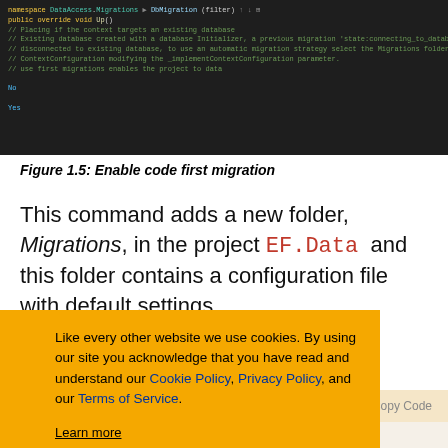[Figure (screenshot): Dark-themed code editor screenshot showing migration-related code in yellow/green/grey text on dark background]
Figure 1.5: Enable code first migration
This command adds a new folder, Migrations, in the project EF.Data and this folder contains a configuration file with default settings.
...gs in the ...one to allow ...when ...uration class
[Figure (screenshot): Cookie consent banner overlay with orange background. Text: 'Like every other website we use cookies. By using our site you acknowledge that you have read and understand our Cookie Policy, Privacy Policy, and our Terms of Service. Learn more' with buttons: Ask me later, Decline, Allow cookies]
[Figure (screenshot): Copy Code button bar with light beige background]
[Figure (screenshot): Bottom code snippet showing AutomaticMigrationDataLossAllowed = false; in monospace with blue keyword]